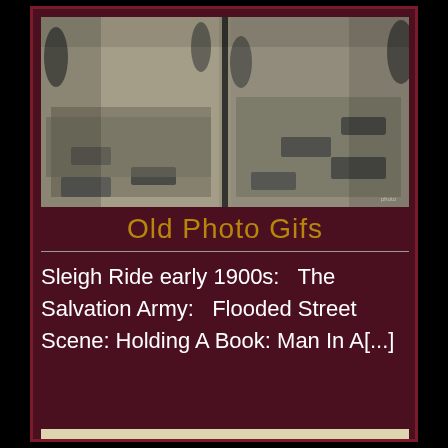[Figure (photo): Black and white aerial photograph of a flooded street scene, split into two panels by a vertical divider, showing cars and roads with flood water, early 20th century style.]
Old Photo Gifs
Sleigh Ride early 1900s:   The Salvation Army:   Flooded Street Scene: Holding A Book: Man In A[...]
[Figure (photo): Image showing stylized cursive text 'Human Events' at the top over a manuscript-like background, with illustrated eyes in the middle, and the text 'ConArtistE' at the bottom.]